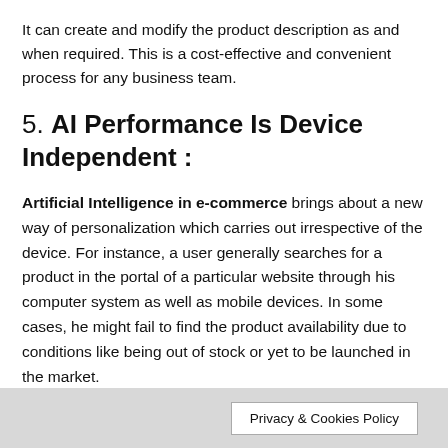It can create and modify the product description as and when required. This is a cost-effective and convenient process for any business team.
5. AI Performance Is Device Independent :
Artificial Intelligence in e-commerce brings about a new way of personalization which carries out irrespective of the device. For instance, a user generally searches for a product in the portal of a particular website through his computer system as well as mobile devices. In some cases, he might fail to find the product availability due to conditions like being out of stock or yet to be launched in the market.
Privacy & Cookies Policy